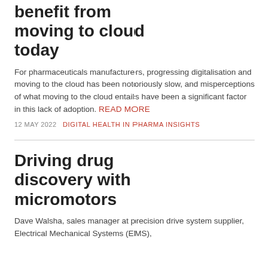benefit from moving to cloud today
For pharmaceuticals manufacturers, progressing digitalisation and moving to the cloud has been notoriously slow, and misperceptions of what moving to the cloud entails have been a significant factor in this lack of adoption. READ MORE
12 MAY 2022   DIGITAL HEALTH IN PHARMA INSIGHTS
Driving drug discovery with micromotors
Dave Walsha, sales manager at precision drive system supplier, Electrical Mechanical Systems (EMS),